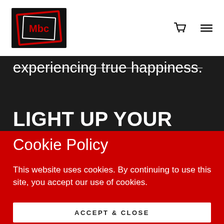[Figure (logo): Mbc logo: black square with red border and white text 'Mbc']
experiencing true happiness.
LIGHT UP YOUR LIFE WITH LOVE
Cookie Policy
This website uses cookies. By continuing to use this site, you accept our use of cookies.
ACCEPT & CLOSE